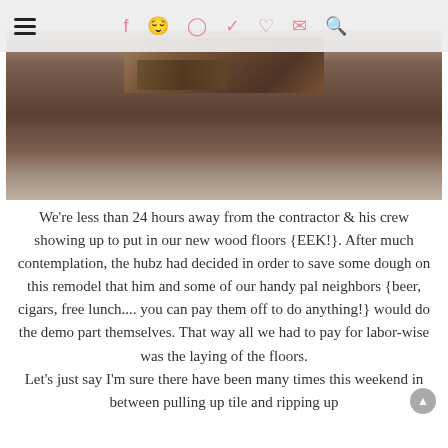Navigation and social icons header
[Figure (photo): Construction/demolition photo showing a damaged subfloor with debris and torn up flooring material, dark brown tones]
We're less than 24 hours away from the contractor & his crew showing up to put in our new wood floors {EEK!}. After much contemplation, the hubz had decided in order to save some dough on this remodel that him and some of our handy pal neighbors {beer, cigars, free lunch.... you can pay them off to do anything!} would do the demo part themselves. That way all we had to pay for labor-wise was the laying of the floors. Let's just say I'm sure there have been many times this weekend in between pulling up tile and ripping up